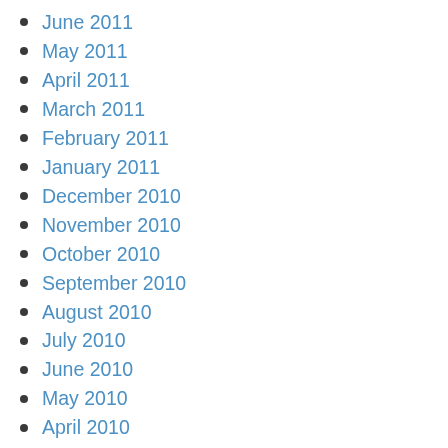June 2011
May 2011
April 2011
March 2011
February 2011
January 2011
December 2010
November 2010
October 2010
September 2010
August 2010
July 2010
June 2010
May 2010
April 2010
March 2010
February 2010
December 2009
November 2009
October 2009